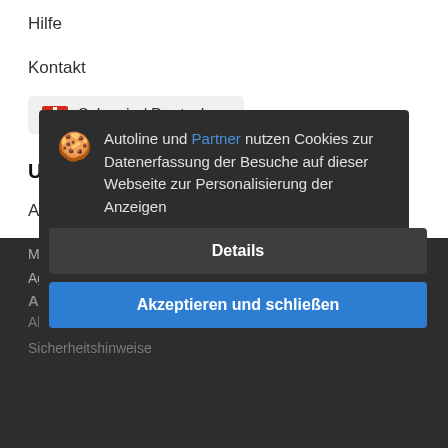Hilfe
Kontakt
Schweiz / Deutsch
Unsere Marktplätze
Autoline™
Machineryline™
Allgemeine Informationen
Allgemeine Geschäftsbedingungen
Sicherheitshinweise
Autoline und Partner nutzen Cookies zur Datenerfassung der Besuche auf dieser Webseite zur Personalisierung der Anzeigen
Details
Akzeptieren und schließen